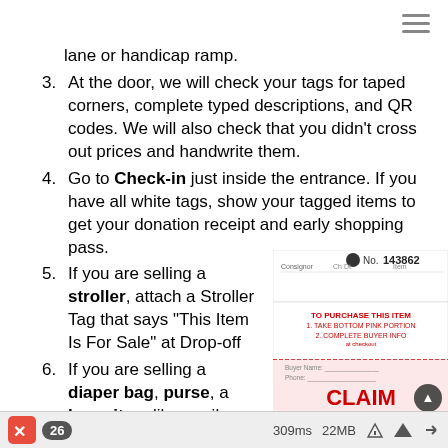lane or handicap ramp.
At the door, we will check your tags for taped corners, complete typed descriptions, and QR codes. We will also check that you didn't cross out prices and handwrite them.
Go to Check-in just inside the entrance. If you have all white tags, show your tagged items to get your donation receipt and early shopping pass.
If you are selling a stroller, attach a Stroller Tag that says "This Item Is For Sale" at Drop-off
If you are selling a diaper bag, purse, a large item like a crib, high
[Figure (photo): A claim ticket / tag with text 'TO PURCHASE THIS ITEM 1. TAKE BOTTOM PINK PORTION 2. COMPLETE BUYER INFO' and 'CLAIM TICKET' in red at the bottom. Ticket number 143862 visible at top.]
26    309ms    22MB